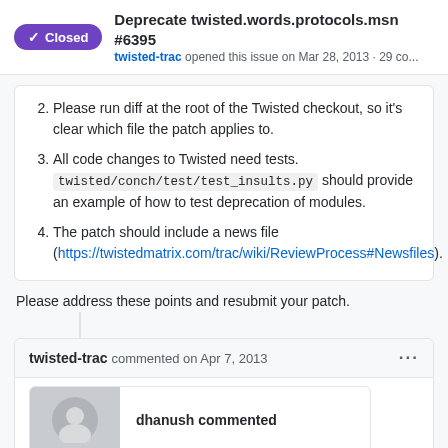Deprecate twisted.words.protocols.msn #6395 — twisted-trac opened this issue on Mar 28, 2013 · 29 co...
Please run diff at the root of the Twisted checkout, so it's clear which file the patch applies to.
All code changes to Twisted need tests. twisted/conch/test/test_insults.py should provide an example of how to test deprecation of modules.
The patch should include a news file (https://twistedmatrix.com/trac/wiki/ReviewProcess#Newsfiles).
Please address these points and resubmit your patch.
twisted-trac commented on Apr 7, 2013
dhanush commented